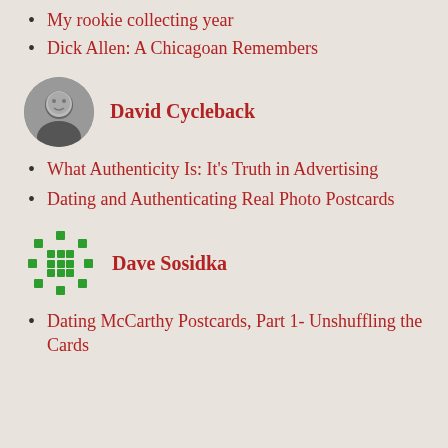My rookie collecting year
Dick Allen: A Chicagoan Remembers
[Figure (photo): Black and white circular headshot photo of David Cycleback]
David Cycleback
What Authenticity Is: It’s Truth in Advertising
Dating and Authenticating Real Photo Postcards
[Figure (logo): Green dotted circle logo for Dave Sosidka]
Dave Sosidka
Dating McCarthy Postcards, Part 1- Unshuffling the Cards